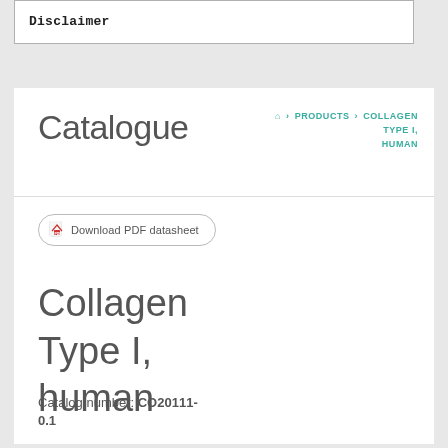Disclaimer
Catalogue — ⌂ > PRODUCTS > COLLAGEN TYPE I, HUMAN
[Figure (other): Download PDF datasheet button]
Collagen Type I, human
Catalog number: CO20111-0.1